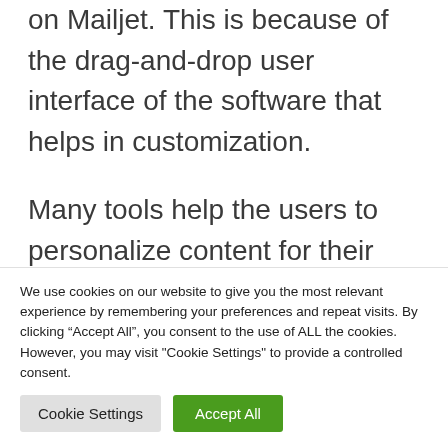on Mailjet. This is because of the drag-and-drop user interface of the software that helps in customization.
Many tools help the users to personalize content for their target audience.
After sending the emails, the users can even get access to analytics, statistics, and
We use cookies on our website to give you the most relevant experience by remembering your preferences and repeat visits. By clicking “Accept All”, you consent to the use of ALL the cookies. However, you may visit "Cookie Settings" to provide a controlled consent.
Cookie Settings | Accept All